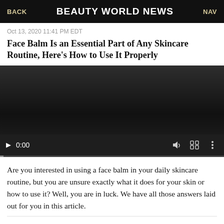BACK | BEAUTY WORLD NEWS | NAV
Oct 13, 2020 11:41 PM EDT
Face Balm Is an Essential Part of Any Skincare Routine, Here's How to Use It Properly
[Figure (screenshot): Embedded video player showing 0:00 with play button, volume, fullscreen, and more-options controls on a dark background]
Are you interested in using a face balm in your daily skincare routine, but you are unsure exactly what it does for your skin or how to use it? Well, you are in luck. We have all those answers laid out for you in this article.